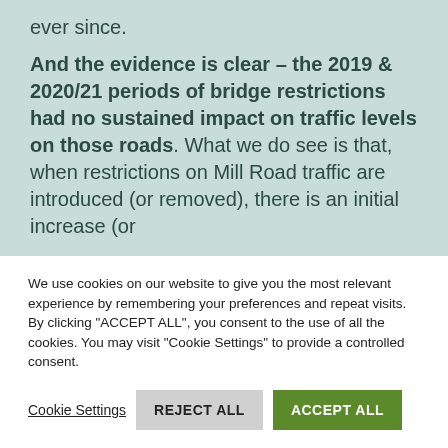ever since.
And the evidence is clear – the 2019 & 2020/21 periods of bridge restrictions had no sustained impact on traffic levels on those roads. What we do see is that, when restrictions on Mill Road traffic are introduced (or removed), there is an initial increase (or
We use cookies on our website to give you the most relevant experience by remembering your preferences and repeat visits. By clicking "ACCEPT ALL", you consent to the use of all the cookies. You may visit "Cookie Settings" to provide a controlled consent.
Cookie Settings   REJECT ALL   ACCEPT ALL